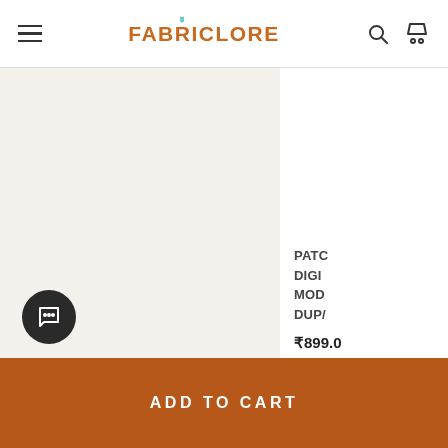FABRICLORE
[Figure (photo): Product image area showing fabric/dupatta, partially visible on left side of page]
PATC DIGI MOD DUP/
₹899.0
3 in sto
ADD
ADD TO CART